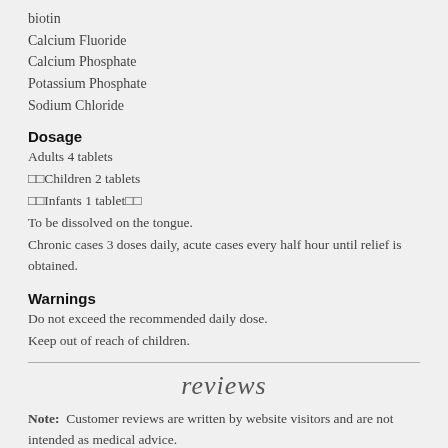biotin
Calcium Fluoride
Calcium Phosphate
Potassium Phosphate
Sodium Chloride
Dosage
Adults 4 tablets
□□Children 2 tablets
□□Infants 1 tablet□□
To be dissolved on the tongue.
Chronic cases 3 doses daily, acute cases every half hour until relief is obtained.
Warnings
Do not exceed the recommended daily dose.
Keep out of reach of children.
reviews
Note:  Customer reviews are written by website visitors and are not intended as medical advice.
Average Customer Review:  Not yet rated
Write an online review and share your thoughts with others